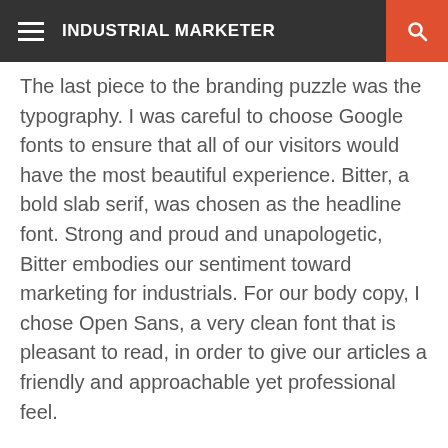INDUSTRIAL MARKETER
The last piece to the branding puzzle was the typography. I was careful to choose Google fonts to ensure that all of our visitors would have the most beautiful experience. Bitter, a bold slab serif, was chosen as the headline font. Strong and proud and unapologetic, Bitter embodies our sentiment toward marketing for industrials. For our body copy, I chose Open Sans, a very clean font that is pleasant to read, in order to give our articles a friendly and approachable yet professional feel.
Building on the Foundation
With the new mark established as our foundation and our colors and fonts selected, the rest of the team and I began the daunting task of redesigning...